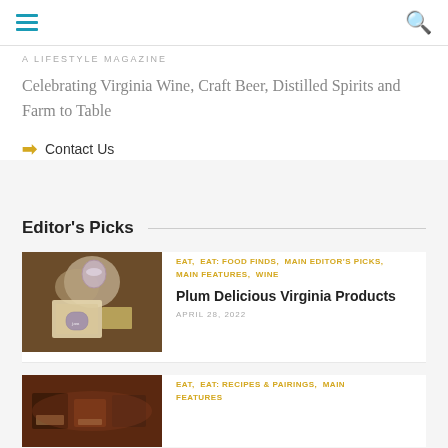navigation header with hamburger menu and search icon
A LIFESTYLE MAGAZINE
Celebrating Virginia Wine, Craft Beer, Distilled Spirits and Farm to Table
→ Contact Us
Editor's Picks
[Figure (photo): Wine glass and cheese with a small jar of preserves on a wooden board]
EAT,  EAT: FOOD FINDS,  MAIN EDITOR'S PICKS,  MAIN FEATURES,  WINE
Plum Delicious Virginia Products
APRIL 28, 2022
[Figure (photo): Chocolate brownies or fudge pieces in a bowl]
EAT,  EAT: RECIPES & PAIRINGS,  MAIN FEATURES